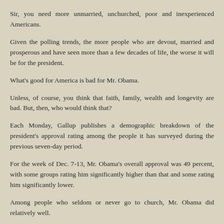Sir, you need more unmarried, unchurched, poor and inexperienced Americans.
Given the polling trends, the more people who are devout, married and prosperous and have seen more than a few decades of life, the worse it will be for the president.
What's good for America is bad for Mr. Obama.
Unless, of course, you think that faith, family, wealth and longevity are bad. But, then, who would think that?
Each Monday, Gallup publishes a demographic breakdown of the president's approval rating among the people it has surveyed during the previous seven-day period.
For the week of Dec. 7-13, Mr. Obama's overall approval was 49 percent, with some groups rating him significantly higher than that and some rating him significantly lower.
Among people who seldom or never go to church, Mr. Obama did relatively well.